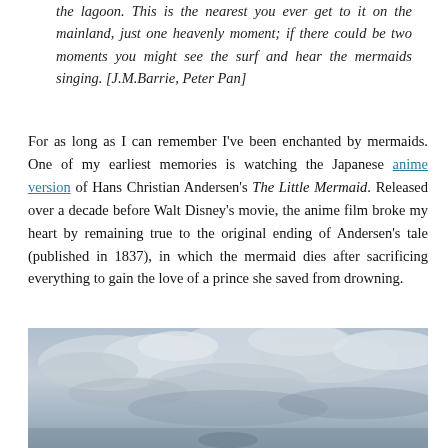the lagoon. This is the nearest you ever get to it on the mainland, just one heavenly moment; if there could be two moments you might see the surf and hear the mermaids singing. [J.M.Barrie, Peter Pan]
For as long as I can remember I've been enchanted by mermaids. One of my earliest memories is watching the Japanese anime version of Hans Christian Andersen's The Little Mermaid. Released over a decade before Walt Disney's movie, the anime film broke my heart by remaining true to the original ending of Andersen's tale (published in 1837), in which the mermaid dies after sacrificing everything to gain the love of a prince she saved from drowning.
[Figure (photo): A landscape photograph showing a cloudy sky, partially obscured or cut off at the bottom of the page.]